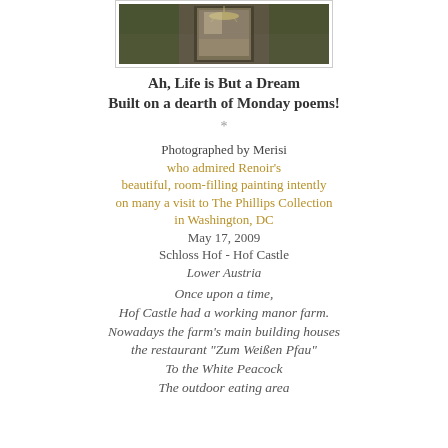[Figure (photo): Interior photo of a room with reflective floor and chandelier, viewed through a doorway, in dark tones of brown and green]
Ah, Life is But a Dream
Built on a dearth of Monday poems!
*
Photographed by Merisi
who admired Renoir's
beautiful, room-filling painting intently
on many a visit to The Phillips Collection
in Washington, DC
May 17, 2009
Schloss Hof - Hof Castle
Lower Austria
Once upon a time,
Hof Castle had a working manor farm.
Nowadays the farm's main building houses
the restaurant "Zum Weißen Pfau"
To the White Peacock
The outdoor eating area